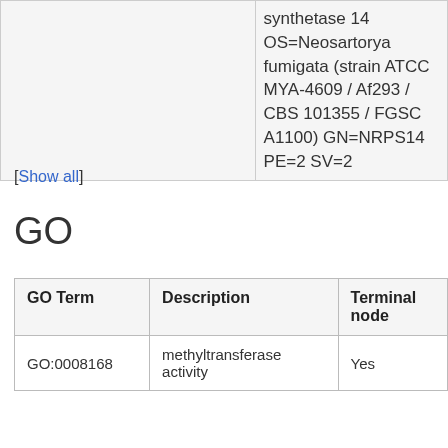|  | synthetase 14 OS=Neosartorya fumigata (strain ATCC MYA-4609 / Af293 / CBS 101355 / FGSC A1100) GN=NRPS14 PE=2 SV=2 |
[Show all]
GO
| GO Term | Description | Terminal node |
| --- | --- | --- |
| GO:0008168 | methyltransferase activity | Yes |